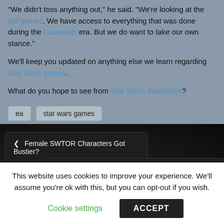"We didn't toss anything out," he said. "We're looking at the old games. We have access to everything that was done during the LucasArts era. But we do want to take our own stance."
We'll keep you updated on anything else we learn regarding Star Wars games.
What do you hope to see from Star Wars: Battlefront?
ea
star wars games
◀ Female SWTOR Characters Got Bustier?
Germany Cantina Tour Thumbdrive Assets ▶
This website uses cookies to improve your experience. We'll assume you're ok with this, but you can opt-out if you wish.
Cookie settings   ACCEPT